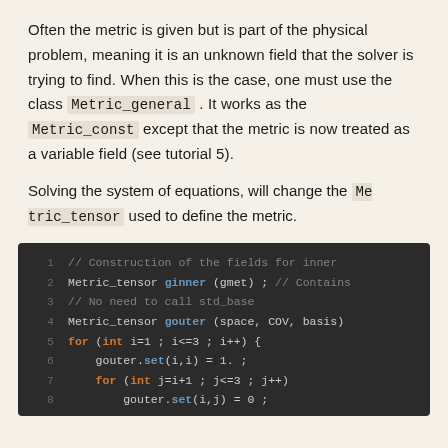Often the metric is given but is part of the physical problem, meaning it is an unknown field that the solver is trying to find. When this is the case, one must use the class Metric_general . It works as the Metric_const except that the metric is now treated as a variable field (see tutorial 5).
Solving the system of equations, will change the Metric_tensor used to define the metric.
[Figure (screenshot): Code block showing C++ source code lines 1-8 involving Metric_tensor construction with ginner, gouter, for loops and set operations.]